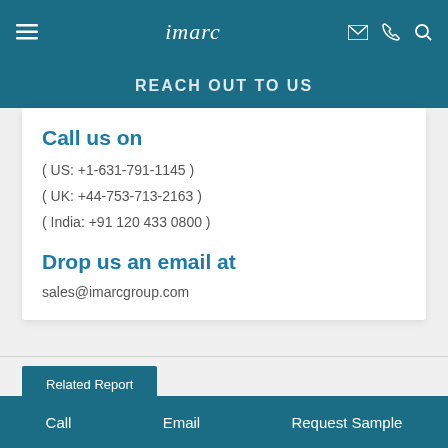imarc
REACH OUT TO US
Call us on
( US: +1-631-791-1145 )
( UK: +44-753-713-2163 )
( India: +91 120 433 0800 )
Drop us an email at
sales@imarcgroup.com
Related Report
Call   Email   Request Sample